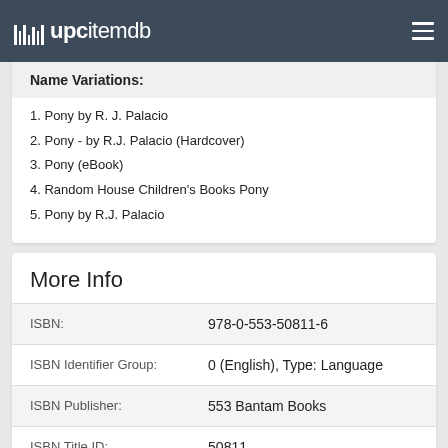upcitemdb
Name Variations:
Pony by R. J. Palacio
Pony - by R.J. Palacio (Hardcover)
Pony (eBook)
Random House Children's Books Pony
Pony by R.J. Palacio
More Info
| Field | Value |
| --- | --- |
| ISBN: | 978-0-553-50811-6 |
| ISBN Identifier Group: | 0 (English), Type: Language |
| ISBN Publisher: | 553 Bantam Books |
| ISBN Title ID: | 50811 |